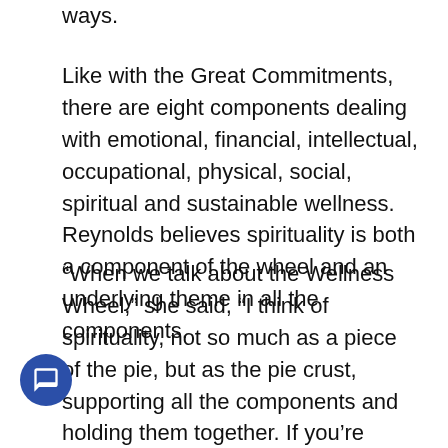ways.
Like with the Great Commitments, there are eight components dealing with emotional, financial, intellectual, occupational, physical, social, spiritual and sustainable wellness. Reynolds believes spirituality is both a component of the wheel and an underlying theme in all the components.
“When we talk about the Wellness Wheel,” she said, “I think of spirituality, not so much as a piece of the pie, but as the pie crust, supporting all the components and holding them together. If you’re talking about financial issues, there’s a spiritual component. How do I want to use my money in this world? For good or for ill? Spirituality is the underlying foundation that holds it all together. I believe that about the Christian commitment